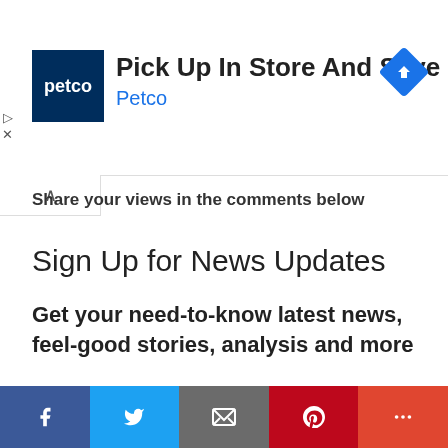[Figure (screenshot): Petco advertisement banner: Petco logo (dark blue square with 'petco' in white), headline 'Pick Up In Store And Save', subtext 'Petco' in blue, and a blue diamond navigation icon on the right.]
Share your views in the comments below
Sign Up for News Updates
Get your need-to-know latest news, feel-good stories, analysis and more
Not convinced? Find out more »
[Figure (infographic): Social sharing footer bar with five buttons: Facebook (dark blue), Twitter (light blue), Email (grey), Pinterest (red), More (orange-red).]